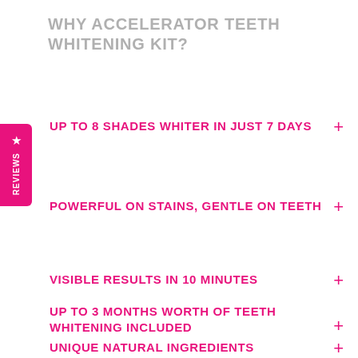WHY ACCELERATOR TEETH WHITENING KIT?
UP TO 8 SHADES WHITER IN JUST 7 DAYS
POWERFUL ON STAINS, GENTLE ON TEETH
VISIBLE RESULTS IN 10 MINUTES
UP TO 3 MONTHS WORTH OF TEETH WHITENING INCLUDED
UNIQUE NATURAL INGREDIENTS